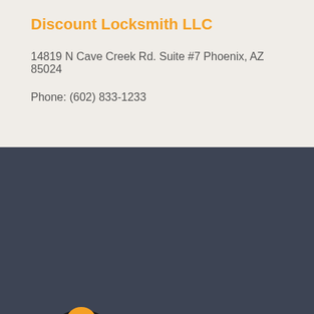Discount Locksmith LLC
14819 N Cave Creek Rd. Suite #7 Phoenix, AZ 85024
Phone: (602) 833-1233
[Figure (logo): Discount Locksmith logo with orange key/lock icon and bold text 'DISCOUNT LOCKSMITH' on dark background]
In Phoenix Call: (602) 833-1233
LOCATION
Discount Locksmith LLC
14819 N Cave Creek Rd.
Suite #7
Phoenix, AZ 85032